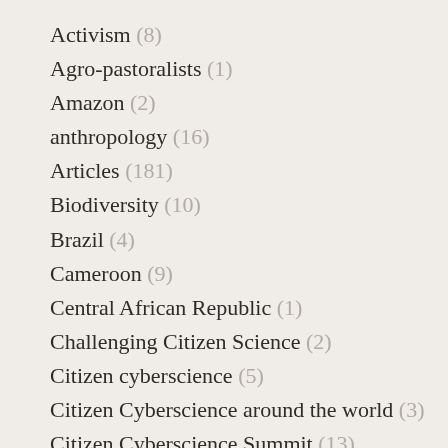Activism (8)
Agro-pastoralists (1)
Amazon (2)
anthropology (16)
Articles (181)
Biodiversity (10)
Brazil (4)
Cameroon (9)
Central African Republic (1)
Challenging Citizen Science (2)
Citizen cyberscience (5)
Citizen Cyberscience around the world (3)
Citizen Cyberscience Summit (13)
citizen science data (9)
Congo (6)
Crowdsourcing (2)
Cultural Ecosystem Services (6)
Digital Trails (7)